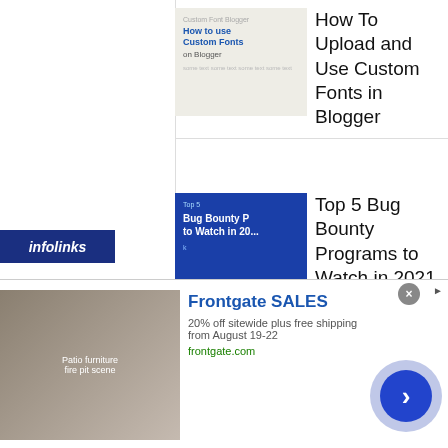[Figure (screenshot): Thumbnail for 'How to use Custom Fonts on Blogger' article — light grey background with text overlay]
How To Upload and Use Custom Fonts in Blogger
[Figure (screenshot): Blue bubble-texture thumbnail with white text: 'Top 5 Bug Bounty Programs to Watch in 2021']
Top 5 Bug Bounty Programs to Watch in 2021
[Figure (photo): Red Xiaomi Mi logo background with white 'mi' logo mark]
China's Xiaomi files legal complaint against U.S. Defense, Treasury ban
[Figure (photo): Broken image placeholder]
Khadi, village industry products log phenomenal rise in sales this Diwali: MSME ministry
infolinks
[Figure (photo): Frontgate outdoor furniture advertisement photo — patio with chairs and fire pit]
Frontgate SALES
20% off sitewide plus free shipping from August 19-22
frontgate.com